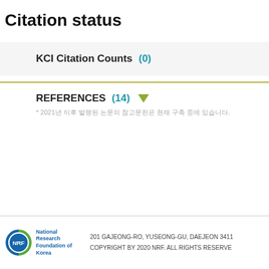Citation status
KCI Citation Counts (0)
REFERENCES (14)
* 2021년 이후 발행된 논문의 참고문헌은 현재 구축 중에 있습니다.
201 GAJEONG-RO, YUSEONG-GU, DAEJEON 3411 COPYRIGHT BY 2020 NRF. ALL RIGHTS RESERVE